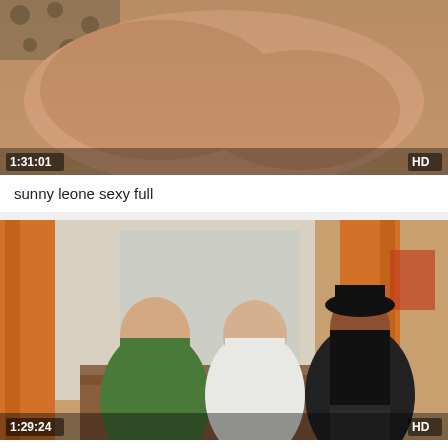[Figure (screenshot): Video thumbnail showing adult content, duration 1:31:01, HD badge]
sunny leone sexy full
[Figure (screenshot): Video thumbnail showing three people on a couch in a living room scene, duration 1:29:24, HD badge]
mobile movies net bollywood